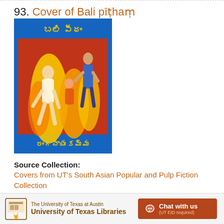93. Cover of Bali pīṭhaṃ
[Figure (photo): Book cover of Bali pīṭhaṃ with Telugu script title and author name, featuring illustrated figures with flames on a red and blue background]
Source Collection:
Covers from UT's South Asian Popular and Pulp Fiction Collection
Creator / Contributor:
The University of Texas at Austin University of Texas Libraries  Chat with us (UT EID required)